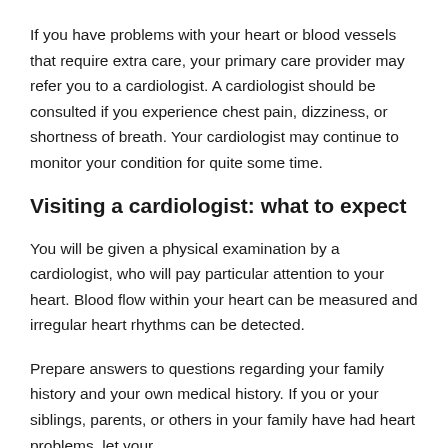If you have problems with your heart or blood vessels that require extra care, your primary care provider may refer you to a cardiologist. A cardiologist should be consulted if you experience chest pain, dizziness, or shortness of breath. Your cardiologist may continue to monitor your condition for quite some time.
Visiting a cardiologist: what to expect
You will be given a physical examination by a cardiologist, who will pay particular attention to your heart. Blood flow within your heart can be measured and irregular heart rhythms can be detected.
Prepare answers to questions regarding your family history and your own medical history. If you or your siblings, parents, or others in your family have had heart problems, let your